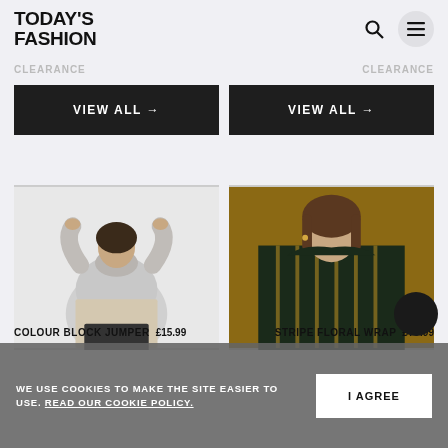TODAY'S FASHION
CLEARANCE   CLEARANCE
VIEW ALL →
VIEW ALL →
[Figure (photo): Woman wearing a colour block grey turtleneck jumper with arms raised]
[Figure (photo): Woman wearing a stripe floral wrap dress in dark green and gold]
COLOUR BLOCK JUMPER  £15.99
STRIPE FLORAL WRAP  £??.99
WE USE COOKIES TO MAKE THE SITE EASIER TO USE. READ OUR COOKIE POLICY.
I AGREE